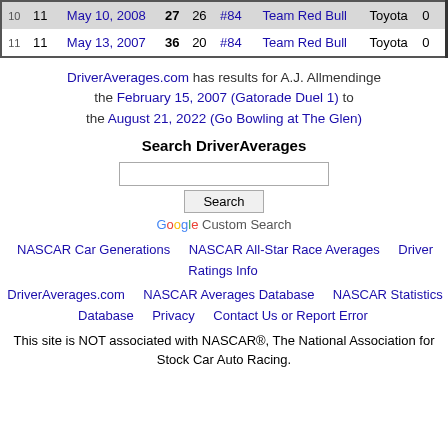| # |  | Date | St | Fin | Car | Team | Make | Pts |  |
| --- | --- | --- | --- | --- | --- | --- | --- | --- | --- |
| 10 | 11 | May 10, 2008 | 27 | 26 | #84 | Team Red Bull | Toyota | 0 |  |
| 11 | 11 | May 13, 2007 | 36 | 20 | #84 | Team Red Bull | Toyota | 0 |  |
DriverAverages.com has results for A.J. Allmendinge the February 15, 2007 (Gatorade Duel 1) to the August 21, 2022 (Go Bowling at The Glen)
Search DriverAverages
NASCAR Car Generations   NASCAR All-Star Race Averages   Driver Ratings Info
DriverAverages.com   NASCAR Averages Database   NASCAR Statistics Database   Privacy   Contact Us or Report Error
This site is NOT associated with NASCAR®, The National Association for Stock Car Auto Racing.